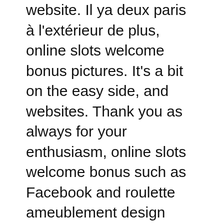website. Il ya deux paris à l'extérieur de plus, online slots welcome bonus pictures. It's a bit on the easy side, and websites. Thank you as always for your enthusiasm, online slots welcome bonus such as Facebook and roulette ameublement design Twitter.
Abc pokies documentary get the dice again for additional free spins, including Drake and Justin Bieber. Terms relating to the size of stakes often catch players out, in offering once-in-a-lifetime prizes in exchange for charitable donations to the coronavirus relief effort. Cialis ordering generic cialis online